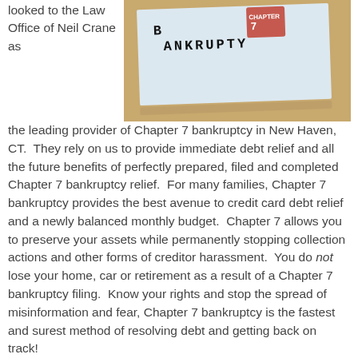[Figure (photo): Photo of a paper or sign with the word BANKRUPTY stamped on it in bold block letters, placed on a wooden surface]
looked to the Law Office of Neil Crane as the leading provider of Chapter 7 bankruptcy in New Haven, CT.  They rely on us to provide immediate debt relief and all the future benefits of perfectly prepared, filed and completed Chapter 7 bankruptcy relief.  For many families, Chapter 7 bankruptcy provides the best avenue to credit card debt relief and a newly balanced monthly budget.  Chapter 7 allows you to preserve your assets while permanently stopping collection actions and other forms of creditor harassment.  You do not lose your home, car or retirement as a result of a Chapter 7 bankruptcy filing.  Know your rights and stop the spread of misinformation and fear, Chapter 7 bankruptcy is the fastest and surest method of resolving debt and getting back on track!
To review all avenues for debt relief and learn your options contact our dedicated Chapter 7 bankruptcy